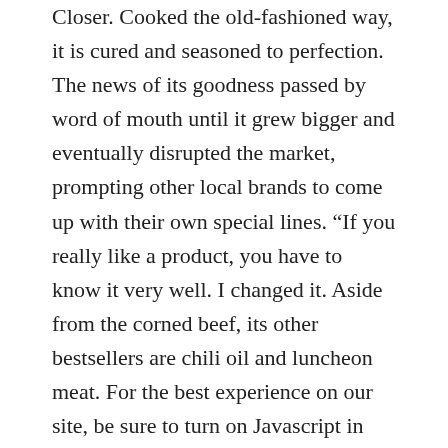Closer. Cooked the old-fashioned way, it is cured and seasoned to perfection. The news of its goodness passed by word of mouth until it grew bigger and eventually disrupted the market, prompting other local brands to come up with their own special lines. “If you really like a product, you have to know it very well. I changed it. Aside from the corned beef, its other bestsellers are chili oil and luncheon meat. For the best experience on our site, be sure to turn on Javascript in your browser. We never go out to the grocery without getting our favorite Delimondo Ranch Style corned beef. Shopee. What I am saying is it just so happened that is what we did and it worked. Hormel Reduced Fat Corned Beef Hash, 15-Ounce Units ... Collab MUKBANG with Kris Lumagui 5 ways to cook Delimondo Corned Beef - Duration: 7:43. While the products are only available in Metro Manila (at least for now), Delimondo’s success has pressured its bigger competitors, which have wider market reach, to come up with their own special lines in the hopes of rivalling the new corned beef. Delimondo recently released a 175g version of the Chili Corned Beef and the Ranch Style Corned Beef that only costs P83 and P79, respectively. She shares a loveable (even those who ending up not) with her brother. If b